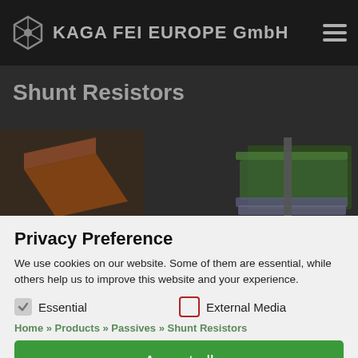KAGA FEI EUROPE GmbH
[Figure (photo): Hero image of Shunt Resistors - 3D rendered electronic components on dark background]
Shunt Resistors
Privacy Preference
We use cookies on our website. Some of them are essential, while others help us to improve this website and your experience.
Essential (checked)
External Media (unchecked)
Home » Products » Passives » Shunt Resistors
Accept all
Save